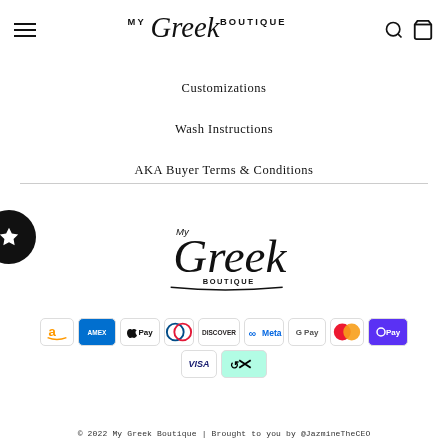[Figure (logo): My Greek Boutique header logo with hamburger menu and icons]
Customizations
Wash Instructions
AKA Buyer Terms & Conditions
[Figure (logo): My Greek Boutique footer logo in script/cursive style]
[Figure (infographic): Payment method icons: Amazon, AMEX, Apple Pay, Diners, Discover, Meta, Google Pay, Mastercard, OPay, Visa, Afterpay]
© 2022 My Greek Boutique | Brought to you by @JazmineTheCEO